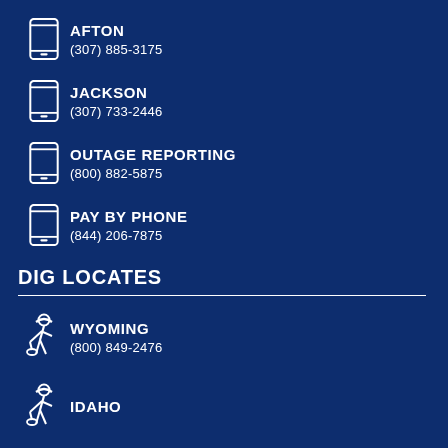AFTON
(307) 885-3175
JACKSON
(307) 733-2446
OUTAGE REPORTING
(800) 882-5875
PAY BY PHONE
(844) 206-7875
DIG LOCATES
WYOMING
(800) 849-2476
IDAHO